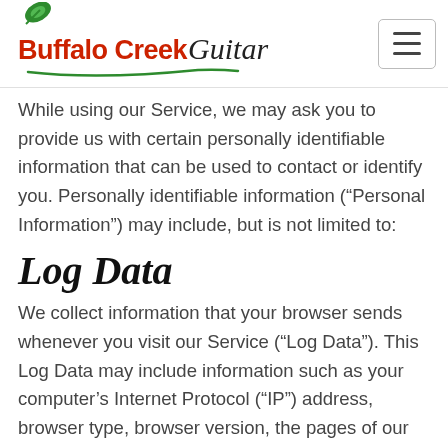Buffalo Creek Guitar
While using our Service, we may ask you to provide us with certain personally identifiable information that can be used to contact or identify you. Personally identifiable information (“Personal Information”) may include, but is not limited to:
Log Data
We collect information that your browser sends whenever you visit our Service (“Log Data”). This Log Data may include information such as your computer’s Internet Protocol (“IP”) address, browser type, browser version, the pages of our Service that you visit, the time and date of your visit, the time spent on those pages